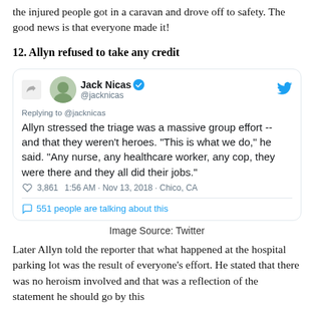the injured people got in a caravan and drove off to safety. The good news is that everyone made it!
12. Allyn refused to take any credit
[Figure (screenshot): Screenshot of a tweet by Jack Nicas (@jacknicas) verified account. Tweet text: 'Allyn stressed the triage was a massive group effort -- and that they weren't heroes. "This is what we do," he said. "Any nurse, any healthcare worker, any cop, they were there and they all did their jobs."' Likes: 3,861. Time: 1:56 AM - Nov 13, 2018 · Chico, CA. Below divider: 551 people are talking about this.]
Image Source: Twitter
Later Allyn told the reporter that what happened at the hospital parking lot was the result of everyone's effort. He stated that there was no heroism involved and that was a reflection of the statement he should go by this